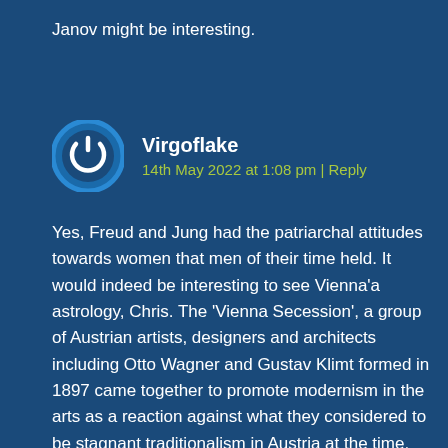Janov might be interesting.
Virgoflake
14th May 2022 at 1:08 pm | Reply
[Figure (illustration): Circular avatar icon with blue border and white power/user symbol in the center on a dark blue background]
Yes, Freud and Jung had the patriarchal attitudes towards women that men of their time held. It would indeed be interesting to see Vienna'a astrology, Chris. The ‘Vienna Secession’, a group of Austrian artists, designers and architects including Otto Wagner and Gustav Klimt formed in 1897 came together to promote modernism in the arts as a reaction against what they considered to be stagnant traditionalism in Austria at the time.